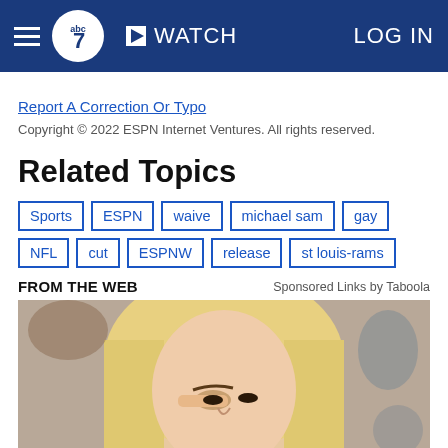abc7 WATCH | LOG IN
Report A Correction Or Typo
Copyright © 2022 ESPN Internet Ventures. All rights reserved.
Related Topics
Sports
ESPN
waive
michael sam
gay
NFL
cut
ESPNW
release
st louis-rams
FROM THE WEB   Sponsored Links by Taboola
[Figure (photo): Photo of a blonde woman touching her eye, used in a sponsored/Taboola advertisement below the article]